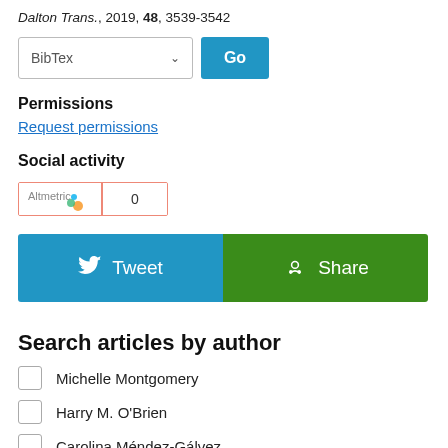Dalton Trans., 2019, 48, 3539-3542
[Figure (screenshot): BibTex dropdown selector with a Go button]
Permissions
Request permissions
Social activity
[Figure (other): Altmetric badge showing score 0]
[Figure (other): Tweet and Share social buttons row]
Search articles by author
Michelle Montgomery
Harry M. O'Brien
Carolina Méndez-Gálvez
Caitlín D. Bons field (partial)